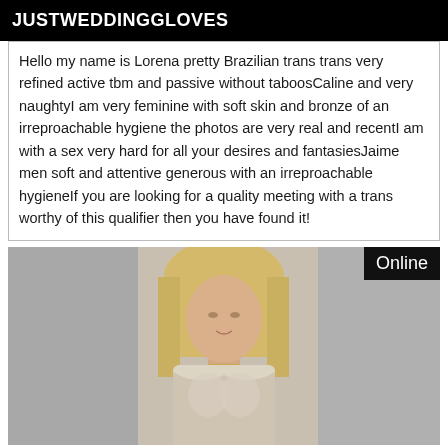JUSTWEDDINGGLOVES
Hello my name is Lorena pretty Brazilian trans trans very refined active tbm and passive without taboosCaline and very naughtyI am very feminine with soft skin and bronze of an irreproachable hygiene the photos are very real and recentI am with a sex very hard for all your desires and fantasiesJaime men soft and attentive generous with an irreproachable hygieneIf you are looking for a quality meeting with a trans worthy of this qualifier then you have found it!
[Figure (photo): Photo of a blonde woman wearing a light beige/cream bandeau dress, with an 'Online' badge in the top right corner]